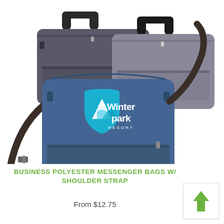[Figure (photo): Three messenger bags arranged together: two dark grey/charcoal bags in the back and one blue heathered bag in the front. The blue bag features a crossbody/shoulder strap and displays the Winter Park Resort logo (a shield with mountain and glacier graphic) with the text 'Winter Park RESORT' on the front.]
BUSINESS POLYESTER MESSENGER BAGS W/ SHOULDER STRAP
From $12.75